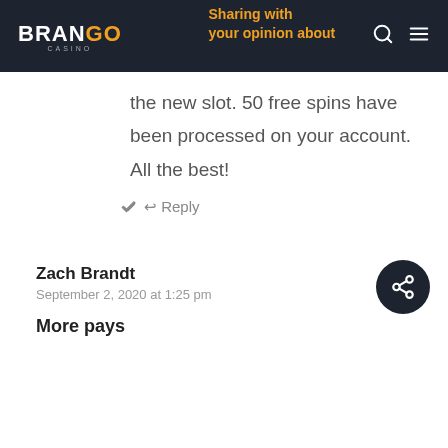Brango Casino – Sharing with you your opinion about
the new slot. 50 free spins have been processed on your account. All the best!
↩ Reply
Zach Brandt
September 2, 2020 at 1:25 pm
More pays